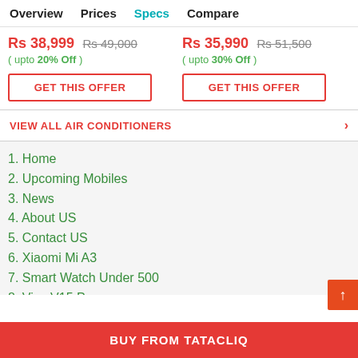Overview  Prices  Specs  Compare
Rs 38,999  Rs 49,000
( upto 20% Off )
Rs 35,990  Rs 51,500
( upto 30% Off )
GET THIS OFFER
GET THIS OFFER
VIEW ALL AIR CONDITIONERS
1. Home
2. Upcoming Mobiles
3. News
4. About US
5. Contact US
6. Xiaomi Mi A3
7. Smart Watch Under 500
8. Vivo V15 Pro
9. Realme 5 Pro
BUY FROM TATACLIQ